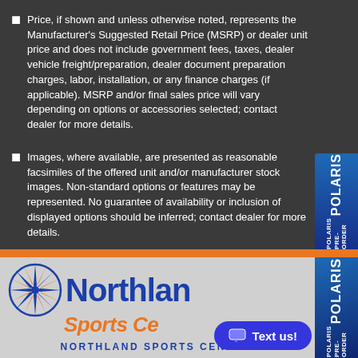Price, if shown and unless otherwise noted, represents the Manufacturer's Suggested Retail Price (MSRP) or dealer unit price and does not include government fees, taxes, dealer vehicle freight/preparation, dealer document preparation charges, labor, installation, or any finance charges (if applicable). MSRP and/or final sales price will vary depending on options or accessories selected; contact dealer for more details.
Images, where available, are presented as reasonable facsimiles of the offered unit and/or manufacturer stock images. Non-standard options or features may be represented. No guarantee of availability or inclusion of displayed options should be inferred; contact dealer for more details.
[Figure (logo): Northland Sports Center logo with blue star/compass rose icon, blue 'Northland' text, orange italic 'Sports Ce' text (partially visible), and blue 'NORTHLAND SPORTS CENTER' text below]
[Figure (logo): Polaris Pre-Order vertical badge on the right side, blue background with white POLARIS text and POLARIS PRE-ORDER text rotated vertically]